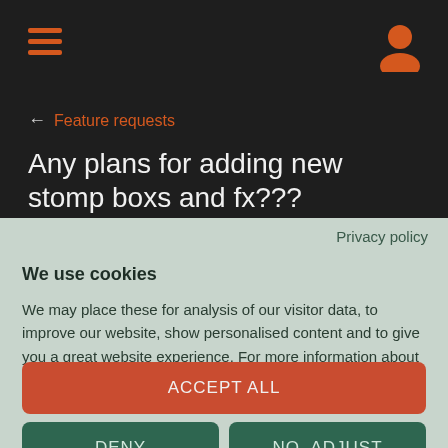← Feature requests
Any plans for adding new stomp boxs and fx???
lucky  Apr 7th 2012  Closed
Privacy policy
We use cookies
We may place these for analysis of our visitor data, to improve our website, show personalised content and to give you a great website experience. For more information about the cookies we use open the settings.
ACCEPT ALL
DENY
NO, ADJUST